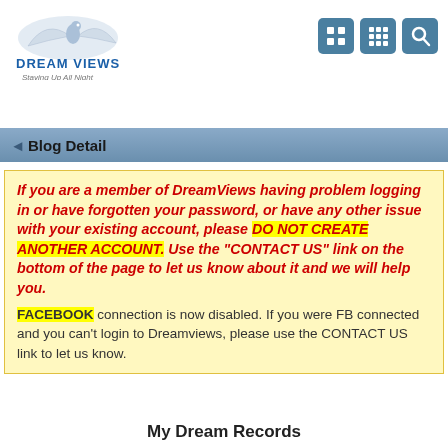[Figure (logo): DreamViews logo with bird/wing graphic, text 'DREAM VIEWS' and tagline 'Staying Up All Night']
[Figure (other): Three navigation icon buttons (grid icons and search icon) in teal/blue color]
Blog Detail
If you are a member of DreamViews having problem logging in or have forgotten your password, or have any other issue with your existing account, please DO NOT CREATE ANOTHER ACCOUNT. Use the "CONTACT US" link on the bottom of the page to let us know about it and we will help you. FACEBOOK connection is now disabled. If you were FB connected and you can't login to Dreamviews, please use the CONTACT US link to let us know.
My Dream Records